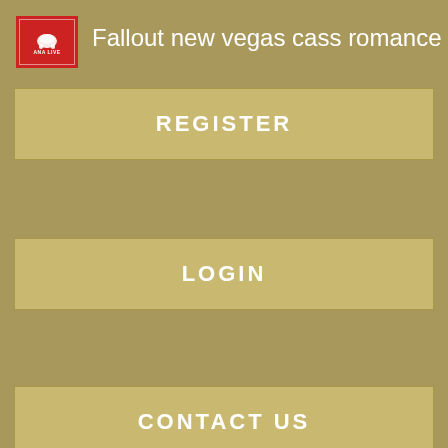[Figure (screenshot): Red logo box with small white text/elephant icon]
Fallout new vegas cass romance
REGISTER
LOGIN
CONTACT US
[Figure (photo): Dark thumbnail images strip showing four partially visible photos]
[Figure (photo): Bangkok Girls Tumblr link image]
[Figure (screenshot): Register NOW for Instant Access black thumbnail]
[Figure (screenshot): Register NOW for Instant Access black thumbnail]
Filmy premium